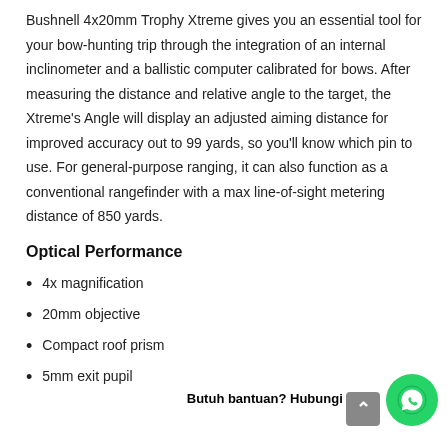Bushnell 4x20mm Trophy Xtreme gives you an essential tool for your bow-hunting trip through the integration of an internal inclinometer and a ballistic computer calibrated for bows. After measuring the distance and relative angle to the target, the Xtreme's Angle will display an adjusted aiming distance for improved accuracy out to 99 yards, so you'll know which pin to use. For general-purpose ranging, it can also function as a conventional rangefinder with a max line-of-sight metering distance of 850 yards.
Optical Performance
4x magnification
20mm objective
Compact roof prism
5mm exit pupil
Weight: 5.3...